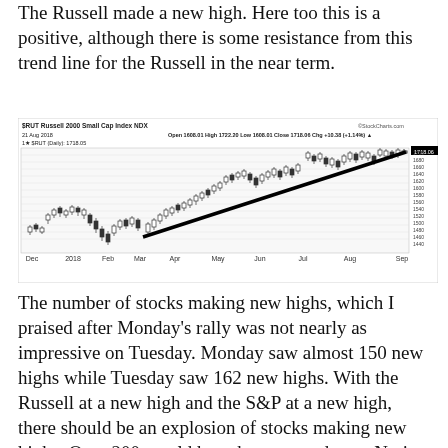The Russell made a new high. Here too this is a positive, although there is some resistance from this trend line for the Russell in the near term.
[Figure (continuous-plot): $RUT Russell 2000 Small Cap Index daily candlestick chart from Dec 2017 to Sep 2018, with an upward trending diagonal trend line drawn from approximately April 2018 lows to the recent high near 1718. Y-axis ranges from about 1440 to 1700+. X-axis shows months Dec, 2018, Feb, Mar, Apr, May, Jun, Jul, Aug, Sep. StockCharts.com watermark. Open 1608.01 High 1722.20 Low 1608.01 Close 1718.06 Chg +10.38 (+1.14%)]
The number of stocks making new highs, which I praised after Monday's rally was not nearly as impressive on Tuesday. Monday saw almost 150 new highs while Tuesday saw 162 new highs. With the Russell at a new high and the S&P at a new high, there should be an explosion of stocks making new highs. Over 200 would have been a good step. Notice I'm being lenient by not even